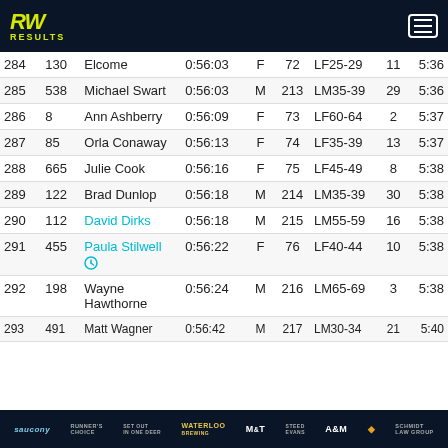RW RESULTS
| Place | Bib | Name | Time | Sex | Overall | Division | Div Place | Pace |
| --- | --- | --- | --- | --- | --- | --- | --- | --- |
| 284 | 130 | Elcome | 0:56:03 | F | 72 | LF25-29 | 11 | 5:36 |
| 285 | 538 | Michael Swart | 0:56:03 | M | 213 | LM35-39 | 29 | 5:36 |
| 286 | 8 | Ann Ashberry | 0:56:09 | F | 73 | LF60-64 | 2 | 5:37 |
| 287 | 85 | Orla Conaway | 0:56:13 | F | 74 | LF35-39 | 13 | 5:37 |
| 288 | 665 | Julie Cook | 0:56:16 | F | 75 | LF45-49 | 8 | 5:38 |
| 289 | 122 | Brad Dunlop | 0:56:18 | M | 214 | LM35-39 | 30 | 5:38 |
| 290 | 112 | David Dirks | 0:56:18 | M | 215 | LM55-59 | 16 | 5:38 |
| 291 | 455 | Paula Stilwell | 0:56:22 | F | 76 | LF40-44 | 10 | 5:38 |
| 292 | 198 | Wayne Hawthorne | 0:56:24 | M | 216 | LM65-69 | 3 | 5:38 |
| 293 | 491 | Matt Wagner | 0:56:42 | M | 217 | LM30-34 | 21 | 5:40 |
Sponsors: saucony, Runner's Choice, Set Out In One Deer, Waterloo Brewing, M&T, Steed Evans, A&M, Domino's, Schmidt Law Group